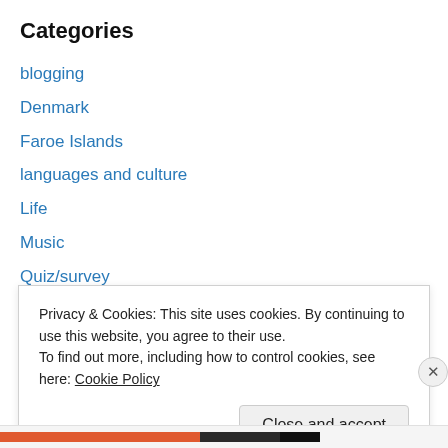Categories
blogging
Denmark
Faroe Islands
languages and culture
Life
Music
Quiz/survey
Roger Hodgson
sport
Supertramp
Travel and places
Privacy & Cookies: This site uses cookies. By continuing to use this website, you agree to their use.
To find out more, including how to control cookies, see here: Cookie Policy
Close and accept